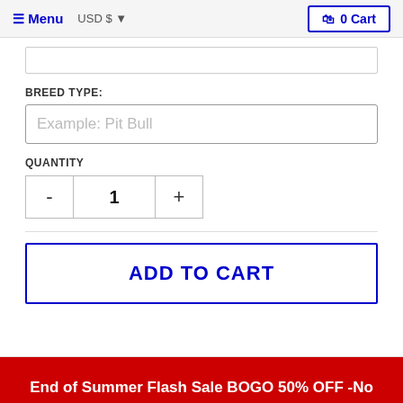Menu  USD $  0 Cart
BREED TYPE:
Example: Pit Bull
QUANTITY
- 1 +
ADD TO CART
End of Summer Flash Sale BOGO 50% OFF -No Code Needed- ENDS 7/22 11:59PM